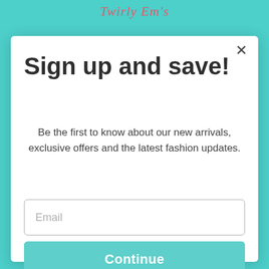Twirly Em's
Sign up and save!
Be the first to know about our new arrivals, exclusive offers and the latest fashion updates.
[Figure (screenshot): Email input field with placeholder text 'Email']
[Figure (screenshot): Continue button in teal/turquoise color]